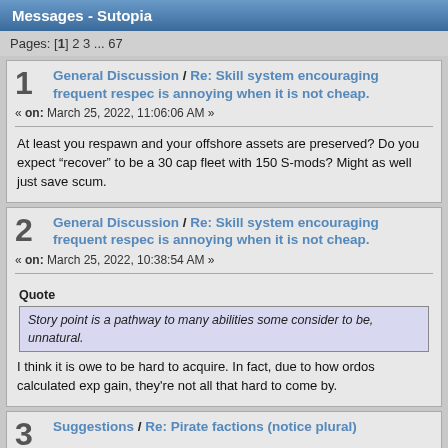Messages - Sutopia
Pages: [1] 2 3 ... 67
1  General Discussion / Re: Skill system encouraging frequent respec is annoying when it is not cheap.
« on: March 25, 2022, 11:06:06 AM »
At least you respawn and your offshore assets are preserved? Do you expect “recover” to be a 30 cap fleet with 150 S-mods? Might as well just save scum.
2  General Discussion / Re: Skill system encouraging frequent respec is annoying when it is not cheap.
« on: March 25, 2022, 10:38:54 AM »
Quote
Story point is a pathway to many abilities some consider to be, unnatural.
I think it is owe to be hard to acquire. In fact, due to how ordos calculated exp gain, they're not all that hard to come by.
3  Suggestions / Re: Pirate factions (notice plural)
« on: March 24, 2022, 02:53:15 PM »
Reminds me of pirate factions in EVE online where each of them have their unique doctrine and are often more powerful than their standard military counterparts. Falcon P stands out to be a similar case.